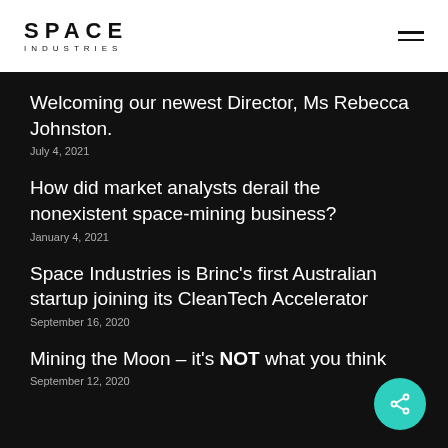SPACE INDUSTRIES
Welcoming our newest Director, Ms Rebecca Johnston.
July 4, 2021
How did market analysts derail the nonexistent space-mining business?
January 4, 2021
Space Industries is Brinc's first Australian startup joining its CleanTech Accelerator
September 16, 2020
Mining the Moon – it's NOT what you think
September 12, 2020